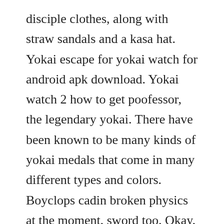disciple clothes, along with straw sandals and a kasa hat. Yokai escape for yokai watch for android apk download. Yokai watch 2 how to get poofessor, the legendary yokai. There have been known to be many kinds of yokai medals that come in many different types and colors. Boyclops cadin broken physics at the moment, sword too. Okay, so in yokai watch 2, there are like 24 apps on the yokai pad. Aug 02, 2016 find out which new yokai nate meets in this episode. Each of these exclusive medals will also contain a qr code that unlocks the ability to change jibanyans. In this